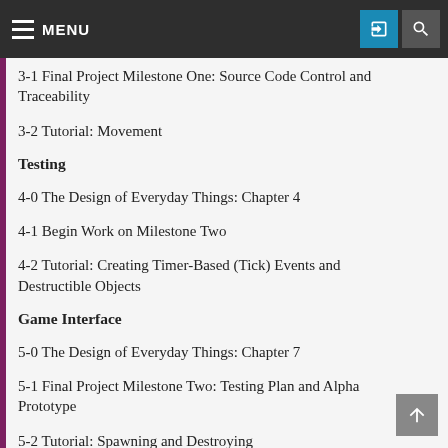MENU
3-1 Final Project Milestone One: Source Code Control and Traceability
3-2 Tutorial: Movement
Testing
4-0 The Design of Everyday Things: Chapter 4
4-1 Begin Work on Milestone Two
4-2 Tutorial: Creating Timer-Based (Tick) Events and Destructible Objects
Game Interface
5-0 The Design of Everyday Things: Chapter 7
5-1 Final Project Milestone Two: Testing Plan and Alpha Prototype
5-2 Tutorial: Spawning and Destroying